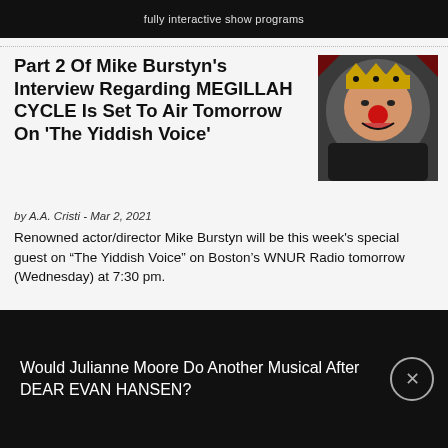[Figure (screenshot): Dark banner at top with white text partially visible: 'fully interactive show programs']
Part 2 Of Mike Burstyn's Interview Regarding MEGILLAH CYCLE Is Set To Air Tomorrow On 'The Yiddish Voice'
by A.A. Cristi - Mar 2, 2021
[Figure (photo): Man wearing a gold crown and red clown nose against a dark background]
Renowned actor/director Mike Burstyn will be this week's special guest on “The Yiddish Voice” on Boston's WNUR Radio tomorrow (Wednesday) at 7:30 pm.
VIDEO: The Congress for Jewish Culture Continues International Virtual Yiddish Theater Series with MEGILLAH CYCLE
[Figure (photo): Man wearing a gold crown and red clown nose against a dark background]
Would Julianne Moore Do Another Musical After DEAR EVAN HANSEN?